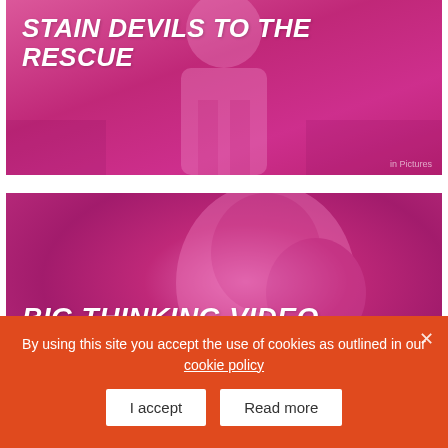[Figure (photo): Pink/magenta tinted image card with a person in white clothing standing in front of a dark background. Title overlay reads: STAIN DEVILS TO THE RESCUE]
STAIN DEVILS TO THE RESCUE
[Figure (photo): Pink/magenta tinted image card showing a close-up of a person's face/profile. Title overlay reads: BIG THINKING VIDEO CONTENT FOR SIZZLING PUBS]
BIG THINKING VIDEO CONTENT FOR SIZZLING PUBS
By using this site you accept the use of cookies as outlined in our cookie policy
I accept
Read more